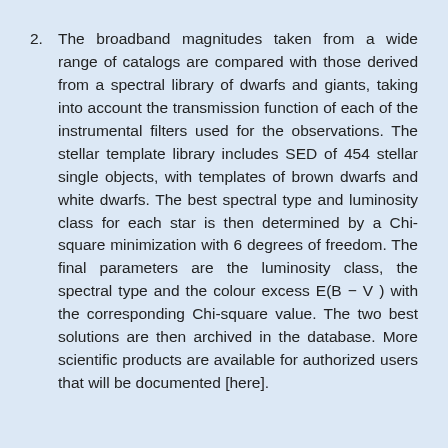2. The broadband magnitudes taken from a wide range of catalogs are compared with those derived from a spectral library of dwarfs and giants, taking into account the transmission function of each of the instrumental filters used for the observations. The stellar template library includes SED of 454 stellar single objects, with templates of brown dwarfs and white dwarfs. The best spectral type and luminosity class for each star is then determined by a Chi-square minimization with 6 degrees of freedom. The final parameters are the luminosity class, the spectral type and the colour excess E(B − V ) with the corresponding Chi-square value. The two best solutions are then archived in the database. More scientific products are available for authorized users that will be documented [here].